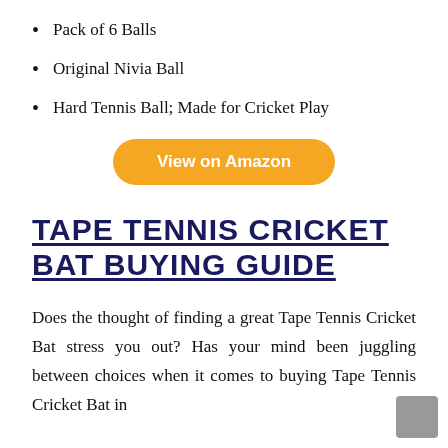Pack of 6 Balls
Original Nivia Ball
Hard Tennis Ball; Made for Cricket Play
[Figure (other): Orange rounded button with white text 'View on Amazon']
TAPE TENNIS CRICKET BAT BUYING GUIDE
Does the thought of finding a great Tape Tennis Cricket Bat stress you out? Has your mind been juggling between choices when it comes to buying Tape Tennis Cricket Bat in